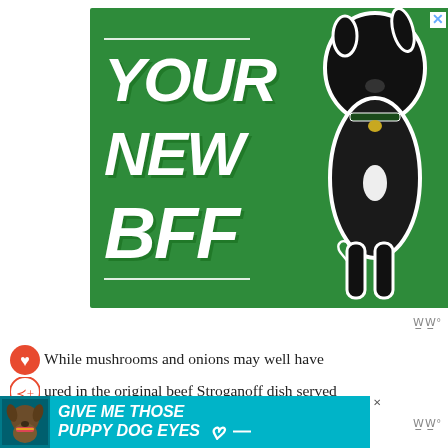[Figure (illustration): Green advertisement banner reading YOUR NEW BFF with a black dog silhouette and heart outlines, close button in top right corner]
While mushrooms and onions may well have
ured in the original beef Stroganoff dish served
in the grand dining room of the pink Stroganoff
[Figure (illustration): Teal advertisement banner at bottom reading GIVE ME THOSE PUPPY DOG EYES with heart outline and small dog photo]